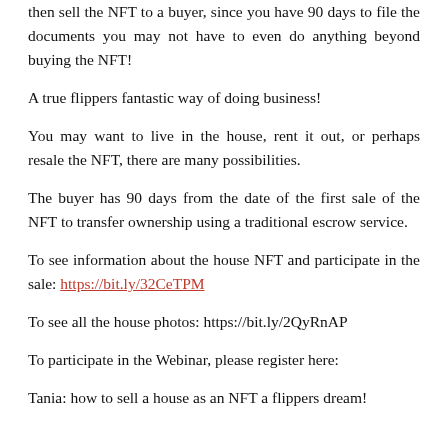then sell the NFT to a buyer, since you have 90 days to file the documents you may not have to even do anything beyond buying the NFT!
A true flippers fantastic way of doing business!
You may want to live in the house, rent it out, or perhaps resale the NFT, there are many possibilities.
The buyer has 90 days from the date of the first sale of the NFT to transfer ownership using a traditional escrow service.
To see information about the house NFT and participate in the sale: https://bit.ly/32CeTPM
To see all the house photos: https://bit.ly/2QyRnAP
To participate in the Webinar, please register here:
Tania: how to sell a house as an NFT a flippers dream!